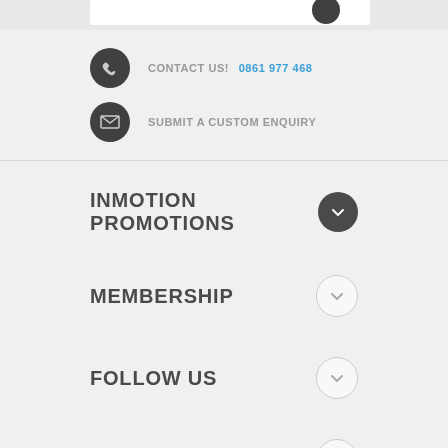CONTACT US!  0861 977 468
SUBMIT A CUSTOM ENQUIRY
INMOTION PROMOTIONS
MEMBERSHIP
FOLLOW US
WHY CHOOSE US?